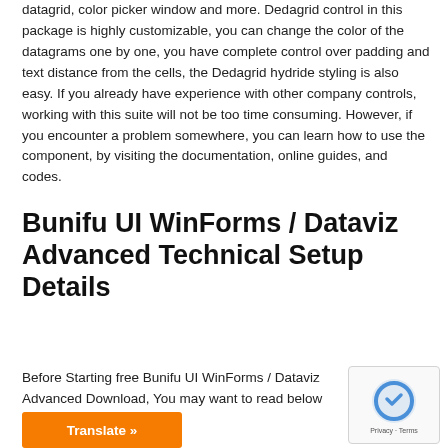datagrid, color picker window and more. Dedagrid control in this package is highly customizable, you can change the color of the datagrams one by one, you have complete control over padding and text distance from the cells, the Dedagrid hydride styling is also easy. If you already have experience with other company controls, working with this suite will not be too time consuming. However, if you encounter a problem somewhere, you can learn how to use the component, by visiting the documentation, online guides, and codes.
Bunifu UI WinForms / Dataviz Advanced Technical Setup Details
Before Starting free Bunifu UI WinForms / Dataviz Advanced Download, You may want to read below technical
[Figure (other): Orange Translate button and reCAPTCHA widget]